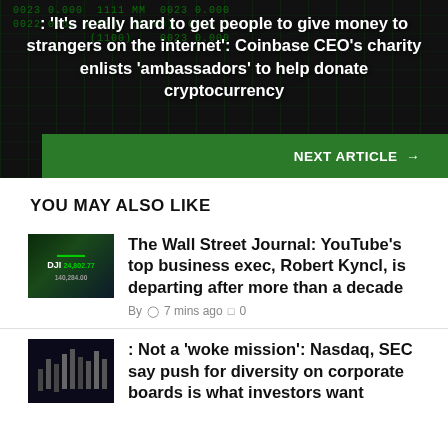: 'It's really hard to get people to give money to strangers on the internet': Coinbase CEO's charity enlists 'ambassadors' to help donate cryptocurrency
NEXT ARTICLE →
YOU MAY ALSO LIKE
[Figure (photo): Thumbnail image of DJI stock market board with green numbers]
The Wall Street Journal: YouTube's top business exec, Robert Kyncl, is departing after more than a decade
By  🕐 7 mins ago  🗨 0
[Figure (photo): Thumbnail image of dark financial chart with candlestick bars]
: Not a 'woke mission': Nasdaq, SEC say push for diversity on corporate boards is what investors want